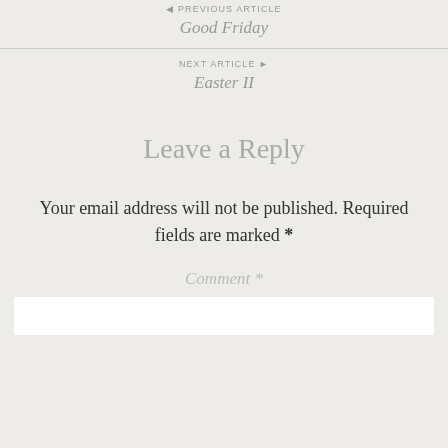◄ PREVIOUS ARTICLE
Good Friday
NEXT ARTICLE ►
Easter II
Leave a Reply
Your email address will not be published. Required fields are marked *
Comment *